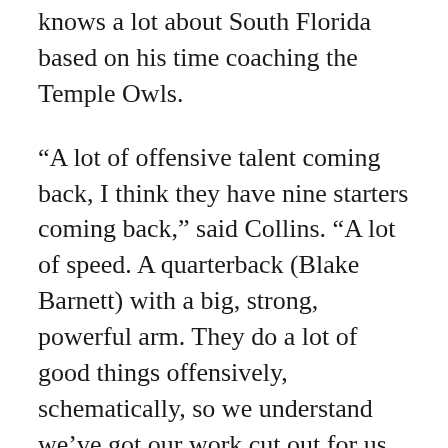knows a lot about South Florida based on his time coaching the Temple Owls.
“A lot of offensive talent coming back, I think they have nine starters coming back,” said Collins. “A lot of speed. A quarterback (Blake Barnett) with a big, strong, powerful arm. They do a lot of good things offensively, schematically, so we understand we’ve got our work cut out for us. And defensively, they’re very multiple but still very sound. I think the same thing on both sides of the ball, they’ve got really good team speed and they play really hard.”